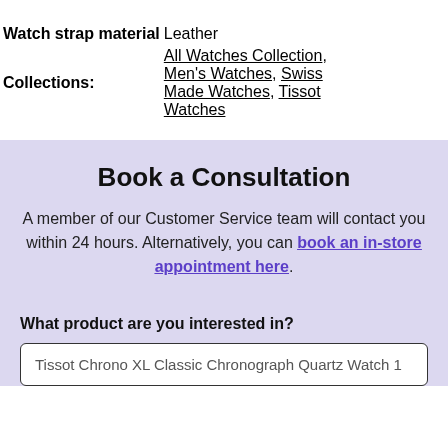|  |  |
| Watch strap material | Leather |
| Collections: | All Watches Collection, Men's Watches, Swiss Made Watches, Tissot Watches |
Book a Consultation
A member of our Customer Service team will contact you within 24 hours. Alternatively, you can book an in-store appointment here.
What product are you interested in?
Tissot Chrono XL Classic Chronograph Quartz Watch 1